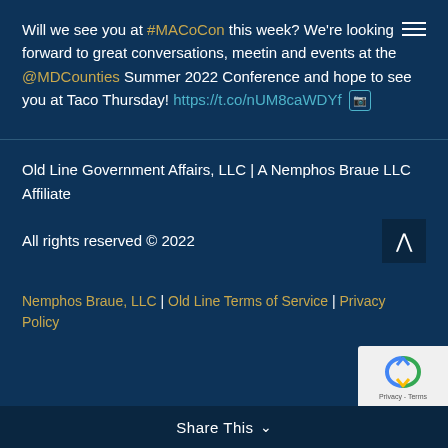Will we see you at #MACoCon this week? We're looking forward to great conversations, meetings and events at the @MDCounties Summer 2022 Conference and hope to see you at Taco Thursday! https://t.co/nUM8caWDYf
Old Line Government Affairs, LLC | A Nemphos Braue LLC Affiliate
All rights reserved © 2022
Nemphos Braue, LLC | Old Line Terms of Service | Privacy Policy
Share This